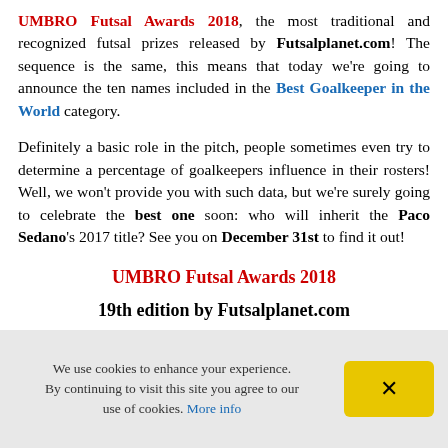UMBRO Futsal Awards 2018, the most traditional and recognized futsal prizes released by Futsalplanet.com! The sequence is the same, this means that today we're going to announce the ten names included in the Best Goalkeeper in the World category.
Definitely a basic role in the pitch, people sometimes even try to determine a percentage of goalkeepers influence in their rosters! Well, we won't provide you with such data, but we're surely going to celebrate the best one soon: who will inherit the Paco Sedano's 2017 title? See you on December 31st to find it out!
UMBRO Futsal Awards 2018
19th edition by Futsalplanet.com
We use cookies to enhance your experience. By continuing to visit this site you agree to our use of cookies. More info